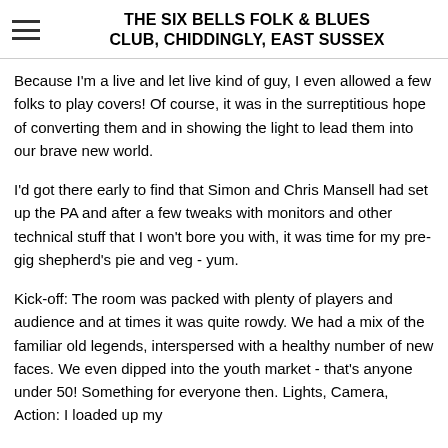THE SIX BELLS FOLK & BLUES CLUB, CHIDDINGLY, EAST SUSSEX
Because I'm a live and let live kind of guy, I even allowed a few folks to play covers! Of course, it was in the surreptitious hope of converting them and in showing the light to lead them into our brave new world.
I'd got there early to find that Simon and Chris Mansell had set up the PA and after a few tweaks with monitors and other technical stuff that I won't bore you with, it was time for my pre-gig shepherd's pie and veg - yum.
Kick-off: The room was packed with plenty of players and audience and at times it was quite rowdy. We had a mix of the familiar old legends, interspersed with a healthy number of new faces. We even dipped into the youth market - that's anyone under 50! Something for everyone then. Lights, Camera, Action: I loaded up my